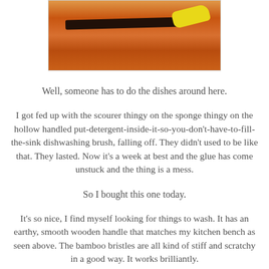[Figure (photo): A photo of a dishwashing brush with a wooden handle on an orange/wooden surface background, with a yellow object visible]
Well, someone has to do the dishes around here.
I got fed up with the scourer thingy on the sponge thingy on the hollow handled put-detergent-inside-it-so-you-don't-have-to-fill-the-sink dishwashing brush, falling off. They didn't used to be like that. They lasted. Now it's a week at best and the glue has come unstuck and the thing is a mess.
So I bought this one today.
It's so nice, I find myself looking for things to wash. It has an earthy, smooth wooden handle that matches my kitchen bench as seen above. The bamboo bristles are all kind of stiff and scratchy in a good way. It works brilliantly.
Especially now that I have a cake of original Aussie Sunlight Soap on a little wooden platform next to the kitchen sink and